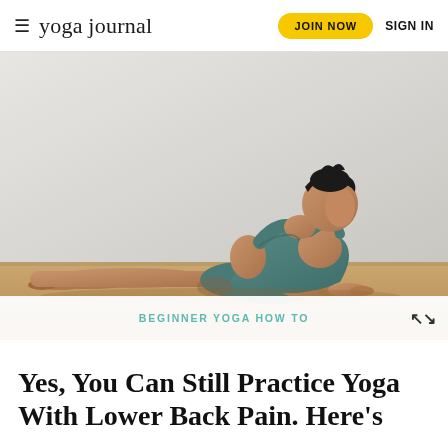≡ yoga journal | JOIN NOW  SIGN IN
[Figure (photo): A man in a teal tank top and shorts performing a cobra/sphinx yoga pose on a wooden floor, lying face-down with arms pressed to the floor lifting his upper body. Light grey studio background.]
BEGINNER YOGA HOW TO
Yes, You Can Still Practice Yoga With Lower Back Pain. Here's